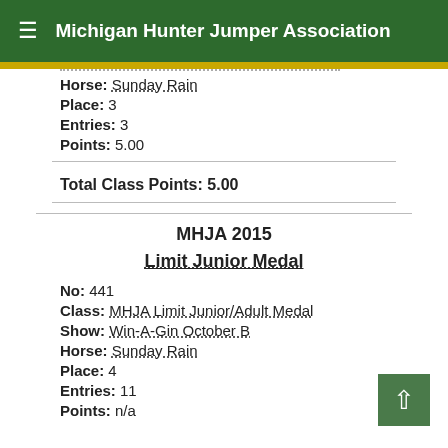Michigan Hunter Jumper Association
Horse: Sunday Rain
Place: 3
Entries: 3
Points: 5.00
Total Class Points: 5.00
MHJA 2015
Limit Junior Medal
No: 441
Class: MHJA Limit Junior/Adult Medal
Show: Win-A-Gin October B
Horse: Sunday Rain
Place: 4
Entries: 11
Points: n/a